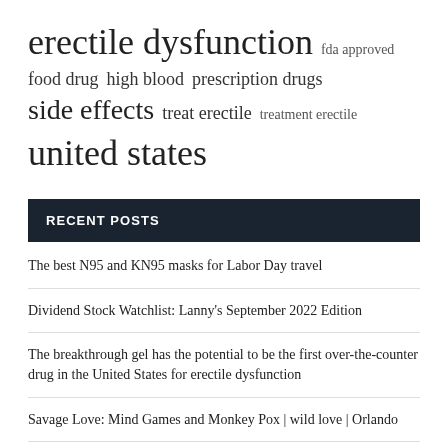[Figure (other): Tag cloud with medical/health-related terms in varying font sizes: 'erectile dysfunction' (largest), 'fda approved', 'food drug', 'high blood', 'prescription drugs', 'side effects' (large), 'treat erectile', 'treatment erectile', 'united states' (large)]
RECENT POSTS
The best N95 and KN95 masks for Labor Day travel
Dividend Stock Watchlist: Lanny's September 2022 Edition
The breakthrough gel has the potential to be the first over-the-counter drug in the United States for erectile dysfunction
Savage Love: Mind Games and Monkey Pox | wild love | Orlando